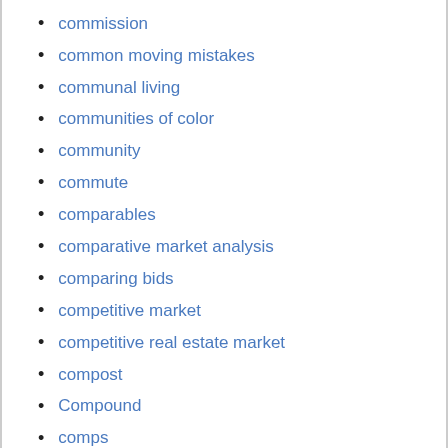commission
common moving mistakes
communal living
communities of color
community
commute
comparables
comparative market analysis
comparing bids
competitive market
competitive real estate market
compost
Compound
comps
Compton
concept
concessions
concierge auctions
Concord NH